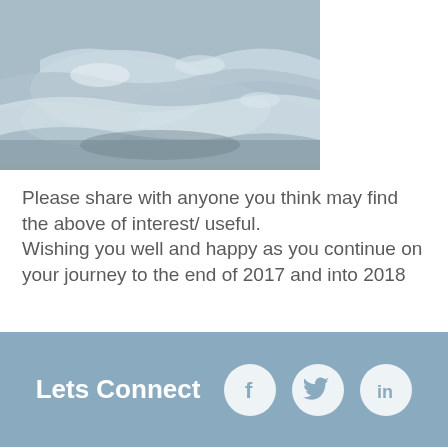[Figure (photo): Photo of what appears to be ice or snow on rocks, seen from above]
Please share with anyone you think may find the above of interest/ useful.
Wishing you well and happy as you continue on your journey to the end of 2017 and into 2018
[Figure (infographic): Blue banner with 'Lets Connect' text and Facebook, Twitter, LinkedIn social media icons]
[Figure (logo): UKCP - UK Council for Psychotherapy logo with coloured star/pinwheel graphic]
[Figure (logo): AXA PPP Healthcare logo - blue rectangle with AXA text and red diagonal stripe, PPP HEALTHCARE text below]